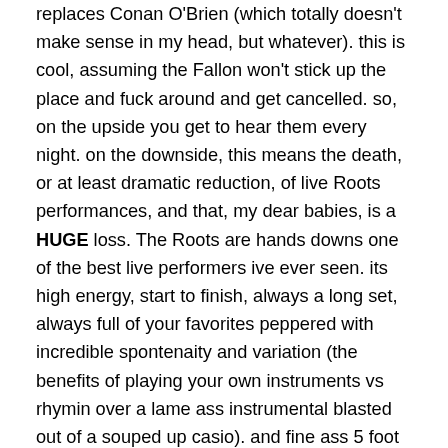replaces Conan O'Brien (which totally doesn't make sense in my head, but whatever).  this is cool, assuming the Fallon won't stick up the place and fuck around and get cancelled.  so, on the upside you get to hear them every night.  on the downside, this means the death, or at least dramatic reduction, of live Roots performances, and that, my dear babies, is a HUGE loss.  The Roots are hands downs one of the best live performers ive ever seen.  its high energy, start to finish, always a long set, always full of your favorites peppered with incredible spontenaity and variation (the benefits of playing your own instruments vs rhymin over a lame ass instrumental blasted out of a souped up casio).  and fine ass 5 foot black thought & Tuba runnin around gettin sweaty on stage.
my heart is definitely heavy over this.  i mean im happy for them and all.  them dudes is what, closin in on 50 years